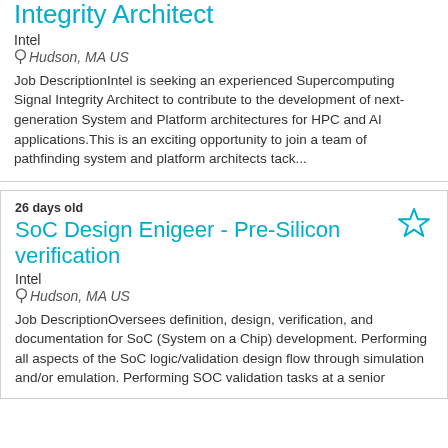Integrity Architect
Intel
Hudson, MA US
Job DescriptionIntel is seeking an experienced Supercomputing Signal Integrity Architect to contribute to the development of next-generation System and Platform architectures for HPC and AI applications. This is an exciting opportunity to join a team of pathfinding system and platform architects tack...
26 days old
SoC Design Enigeer - Pre-Silicon verification
Intel
Hudson, MA US
Job DescriptionOversees definition, design, verification, and documentation for SoC (System on a Chip) development. Performing all aspects of the SoC logic/validation design flow through simulation and/or emulation. Performing SOC validation tasks at a senior